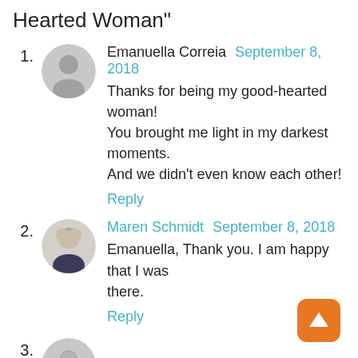Hearted Woman"
1. Emanuella Correia September 8, 2018 — Thanks for being my good-hearted woman! You brought me light in my darkest moments. And we didn't even know each other! Reply
2. Maren Schmidt September 8, 2018 — Emanuella, Thank you. I am happy that I was there. Reply
3. (avatar)